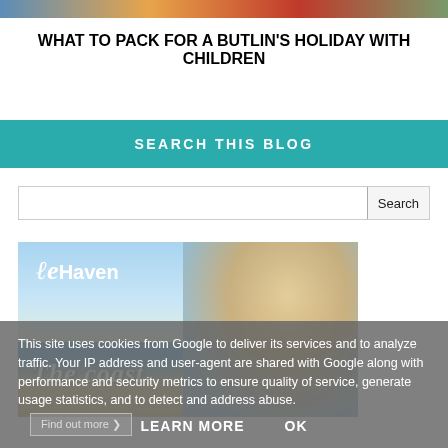[Figure (photo): Colorful header image banner strip at top of blog page]
WHAT TO PACK FOR A BUTLIN'S HOLIDAY WITH CHILDREN
SEARCH THIS BLOG
[Figure (screenshot): Search input box with Search button on right]
[Figure (photo): Haven holiday advertisement showing a child on a beach with Haven logo and The coast text]
This site uses cookies from Google to deliver its services and to analyze traffic. Your IP address and user-agent are shared with Google along with performance and security metrics to ensure quality of service, generate usage statistics, and to detect and address abuse.
LEARN MORE   OK